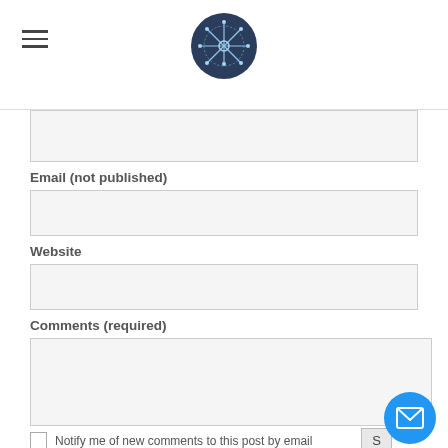[Figure (logo): Circular logo with decorative text and snowflake/fountain design, dark blue background]
Email (not published)
Website
Comments (required)
Notify me of new comments to this post by email